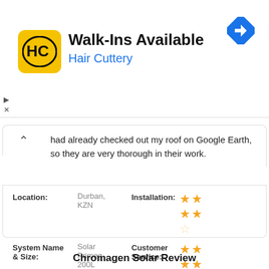[Figure (logo): Hair Cuttery advertisement banner with HC logo, Walk-Ins Available text, Hair Cuttery subtitle, and navigation arrow icon]
had already checked out my roof on Google Earth, so they are very thorough in their work.
| Location: | Durban, KZN | Installation: | ★★★☆ (2/3 stars) |
| System Name & Size: | Solar Primeg 200L | Customer Service: | ★★★☆ (2/3 stars) |
| Cost: | Under R15000 | System Quality: | ★★★☆ (2/3 stars) |
Chromagen Solar Review